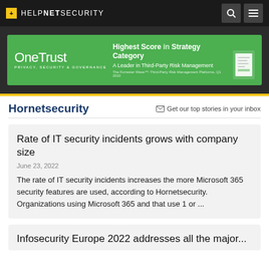HELPNETSECURITY
[Figure (infographic): OneTrust advertisement banner: Highest Score in Strategy Category, A Leader in Third-Party Risk Management]
Hornetsecurity
Get our top stories in your inbox
Rate of IT security incidents grows with company size
June 23, 2022
The rate of IT security incidents increases the more Microsoft 365 security features are used, according to Hornetsecurity. Organizations using Microsoft 365 and that use 1 or ...
Infosecurity Europe 2022 addresses all the major...